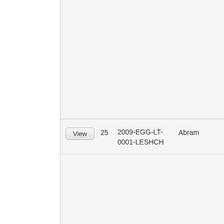| Action | # | Code | Name |
| --- | --- | --- | --- |
| View | 25 | 2009-EGG-LT-0001-LESHCH | Abram |
| View | 26 | 2009-EGG-LT-0001-ZLATKUS | Bronius |
| View | 27 | 2009-EGG-LT-0001-SHLIOMOVICHIUS | Iser |